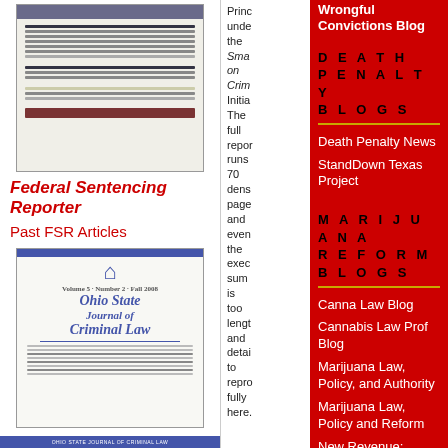[Figure (illustration): Federal Sentencing Reporter journal cover thumbnail]
Federal Sentencing Reporter
Past FSR Articles
[Figure (illustration): Ohio State Journal of Criminal Law journal cover]
Ohio State Journal of Criminal Law
Princ unde the Sma on Crim Initia The full repor runs 70 dens page and even the exec sum is too lengt and detai to repro fully here.
Wrongful Convictions Blog
DEATH PENALTY BLOGS
Death Penalty News
StandDown Texas Project
MARIJUANA REFORM BLOGS
Canna Law Blog
Cannabis Law Prof Blog
Marijuana Law, Policy, and Authority
Marijuana Law, Policy and Reform
New Revenue: Sensible Taxes on Marijuana